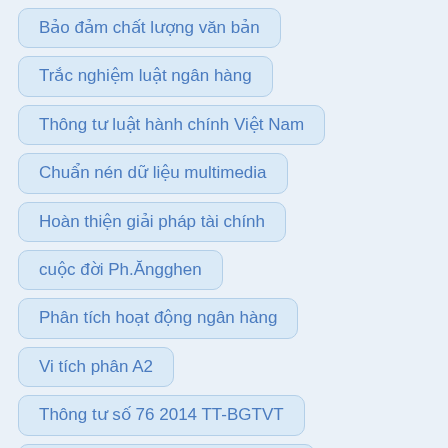Bảo đảm chất lượng văn bản
Trắc nghiệm luật ngân hàng
Thông tư luật hành chính Việt Nam
Chuẩn nén dữ liệu multimedia
Hoàn thiện giải pháp tài chính
cuộc đời Ph.Ăngghen
Phân tích hoạt động ngân hàng
Vi tích phân A2
Thông tư số 76 2014 TT-BGTVT
Bảo đảm chất lượng dịch vụ QoS